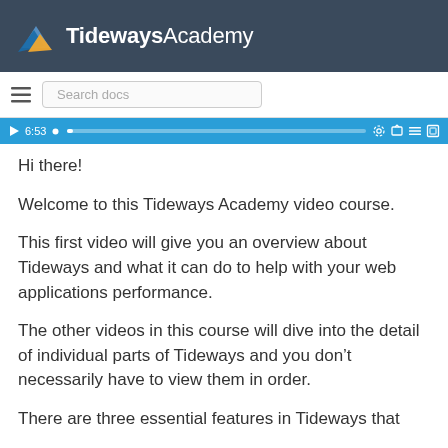Tideways Academy
[Figure (screenshot): Search docs input bar with hamburger menu icon]
[Figure (screenshot): Video player progress bar showing time 6:53 with playback controls]
Hi there!
Welcome to this Tideways Academy video course.
This first video will give you an overview about Tideways and what it can do to help with your web applications performance.
The other videos in this course will dive into the detail of individual parts of Tideways and you don’t necessarily have to view them in order.
There are three essential features in Tideways that